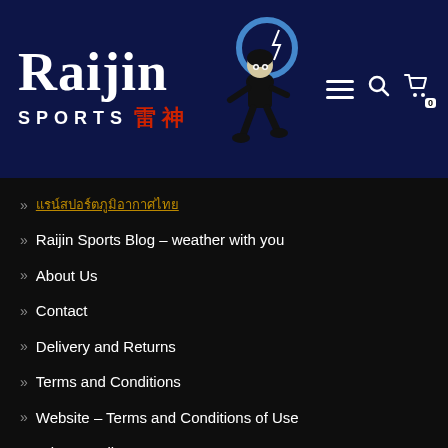[Figure (logo): Raijin Sports logo with mascot figure on dark navy background, with hamburger menu, search and cart icons]
» [Thai text link]
» Raijin Sports Blog – weather with you
» About Us
» Contact
» Delivery and Returns
» Terms and Conditions
» Website – Terms and Conditions of Use
» Privacy Policy
» [Partially visible item]